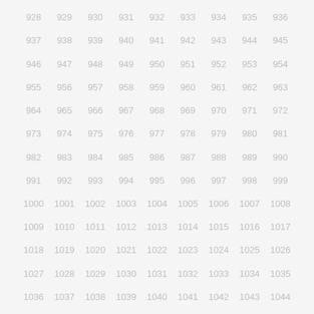| 928 | 929 | 930 | 931 | 932 | 933 | 934 | 935 | 936 |
| 937 | 938 | 939 | 940 | 941 | 942 | 943 | 944 | 945 |
| 946 | 947 | 948 | 949 | 950 | 951 | 952 | 953 | 954 |
| 955 | 956 | 957 | 958 | 959 | 960 | 961 | 962 | 963 |
| 964 | 965 | 966 | 967 | 968 | 969 | 970 | 971 | 972 |
| 973 | 974 | 975 | 976 | 977 | 978 | 979 | 980 | 981 |
| 982 | 983 | 984 | 985 | 986 | 987 | 988 | 989 | 990 |
| 991 | 992 | 993 | 994 | 995 | 996 | 997 | 998 | 999 |
| 1000 | 1001 | 1002 | 1003 | 1004 | 1005 | 1006 | 1007 | 1008 |
| 1009 | 1010 | 1011 | 1012 | 1013 | 1014 | 1015 | 1016 | 1017 |
| 1018 | 1019 | 1020 | 1021 | 1022 | 1023 | 1024 | 1025 | 1026 |
| 1027 | 1028 | 1029 | 1030 | 1031 | 1032 | 1033 | 1034 | 1035 |
| 1036 | 1037 | 1038 | 1039 | 1040 | 1041 | 1042 | 1043 | 1044 |